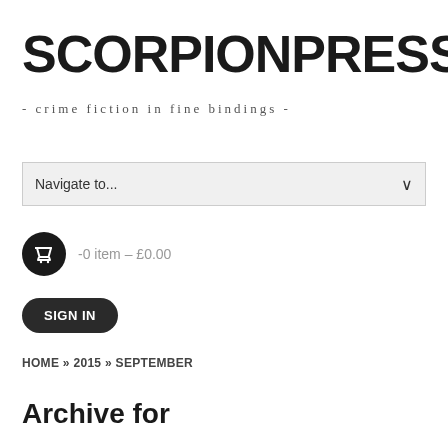SCORPIONPRESS
- crime fiction in fine bindings -
Navigate to...
-0 item – £0.00
SIGN IN
HOME » 2015 » SEPTEMBER
Archive for